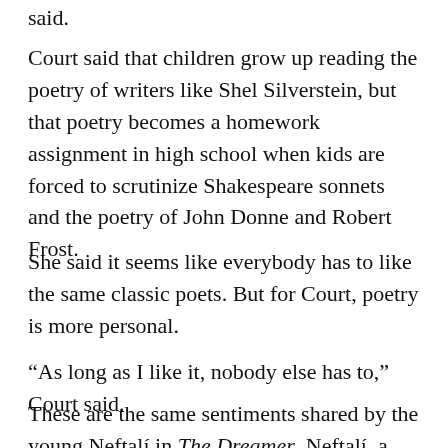said.
Court said that children grow up reading the poetry of writers like Shel Silverstein, but that poetry becomes a homework assignment in high school when kids are forced to scrutinize Shakespeare sonnets and the poetry of John Donne and Robert Frost.
She said it seems like everybody has to like the same classic poets. But for Court, poetry is more personal.
“As long as I like it, nobody else has to,” Court said.
These are the same sentiments shared by the young Neftalí in The Dreamer. Neftalí, a skinny